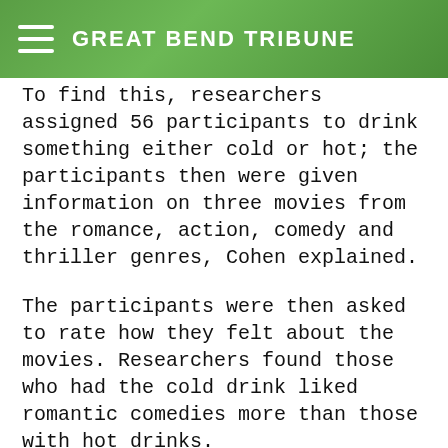GREAT BEND TRIBUNE
To find this, researchers assigned 56 participants to drink something either cold or hot; the participants then were given information on three movies from the romance, action, comedy and thriller genres, Cohen explained.
The participants were then asked to rate how they felt about the movies. Researchers found those who had the cold drink liked romantic comedies more than those with hot drinks.
As many of us prepare to endure for what may be the coldest and worst part of the winter, take a tip from the research and queue up your Netflix for plenty of romance rentals, Cohen wrote. Not only will they be entertaining, but they may bring you some much-needed warmth.